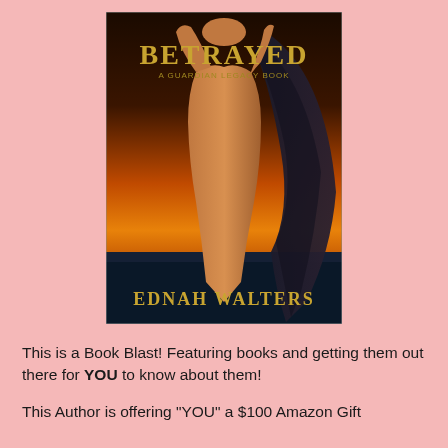[Figure (illustration): Book cover for 'Betrayed: A Guardian Legacy Book' by Ednah Walters. Shows a muscular winged male figure with arms raised against a sunset sky, with dark angel wings visible.]
This is a Book Blast! Featuring books and getting them out there for YOU to know about them!
This Author is offering "YOU" a $100 Amazon Gift